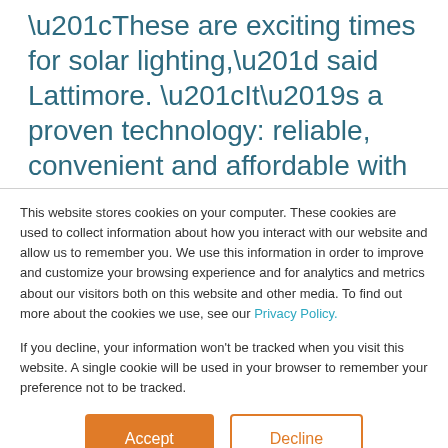“These are exciting times for solar lighting,” said Lattimore. “It’s a proven technology: reliable, convenient and affordable with a low total cost of ownership. On new construction you can now save money by choosing solar over grid power – that just
This website stores cookies on your computer. These cookies are used to collect information about how you interact with our website and allow us to remember you. We use this information in order to improve and customize your browsing experience and for analytics and metrics about our visitors both on this website and other media. To find out more about the cookies we use, see our Privacy Policy.
If you decline, your information won’t be tracked when you visit this website. A single cookie will be used in your browser to remember your preference not to be tracked.